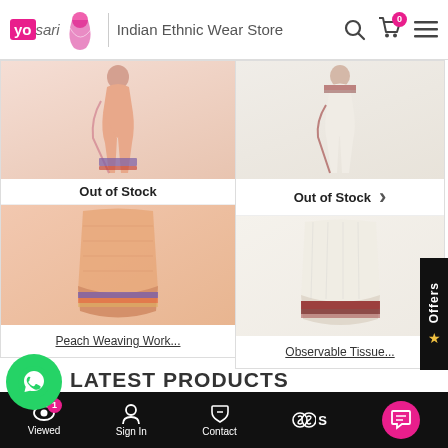[Figure (logo): YoSari Indian Ethnic Wear Store logo with navigation icons]
[Figure (photo): Peach saree product image - top half, model wearing peach/pink saree with blue border, Out of Stock label]
[Figure (photo): White saree product image - top half, model wearing white saree with red/maroon border, Out of Stock label]
[Figure (photo): Peach saree product image - bottom half showing draped fabric with blue and orange stripe border]
[Figure (photo): White saree product image - bottom half showing draped fabric with red border]
Peach Weaving Work...
Observable Tissue...
LATEST PRODUCTS
Viewed | Sign In | Contact | S | [chat]